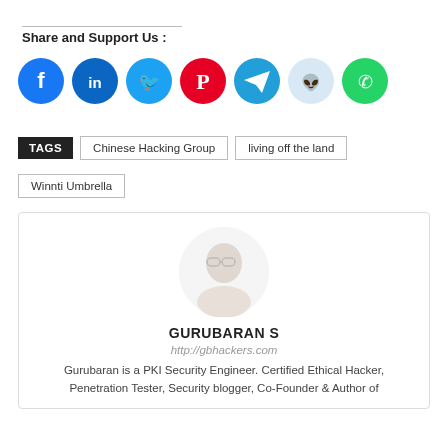Share and Support Us :
[Figure (infographic): Seven social media share icons in circles: Facebook (blue), LinkedIn (blue), Twitter (cyan), Pinterest (red), Telegram (blue), Reddit (light blue), WhatsApp (green)]
TAGS  Chinese Hacking Group  living off the land  Winnti Umbrella
[Figure (photo): Faded/washed out circular avatar photo of a man with glasses]
GURUBARAN S
http://gbhackers.com
Gurubaran is a PKI Security Engineer. Certified Ethical Hacker, Penetration Tester, Security blogger, Co-Founder & Author of